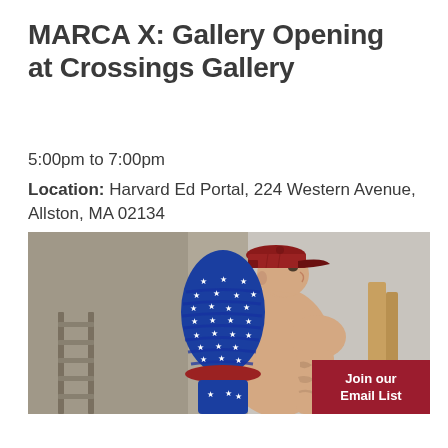MARCA X: Gallery Opening at Crossings Gallery
5:00pm to 7:00pm
Location: Harvard Ed Portal, 224 Western Avenue, Allston, MA 02134
[Figure (photo): A shirtless tattooed man wearing a red trucker cap, with another person wrapped tightly in a blue star-patterned fabric/costume pressed against his back, photographed in an indoor setting.]
Join our Email List